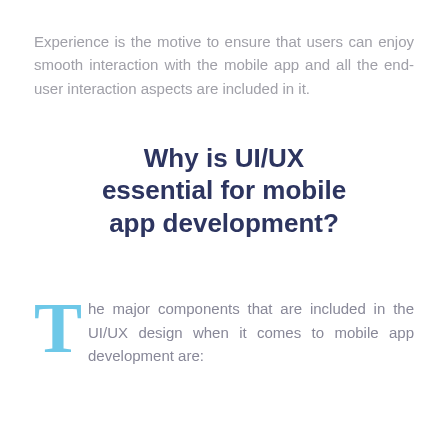Experience is the motive to ensure that users can enjoy smooth interaction with the mobile app and all the end-user interaction aspects are included in it.
Why is UI/UX essential for mobile app development?
The major components that are included in the UI/UX design when it comes to mobile app development are: